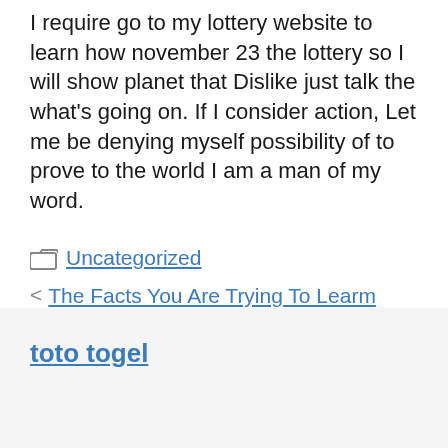I require go to my lottery website to learn how november 23 the lottery so I will show planet that Dislike just talk the what's going on. If I consider action, Let me be denying myself possibility of to prove to the world I am a man of my word.
Uncategorized
The Facts You Are Trying To Learm About Playing Online Bingo
Invest in a Car Registration Number –
toto togel